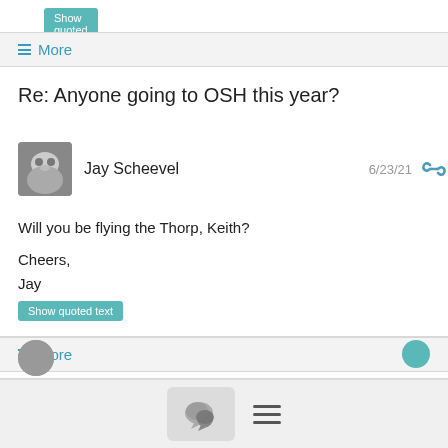Show quoted text
≡ More
Re: Anyone going to OSH this year?
Jay Scheevel  6/23/21
Will you be flying the Thorp, Keith?

Cheers,
Jay
Show quoted text
≡ More
Re: Anyone going to OSH this year?